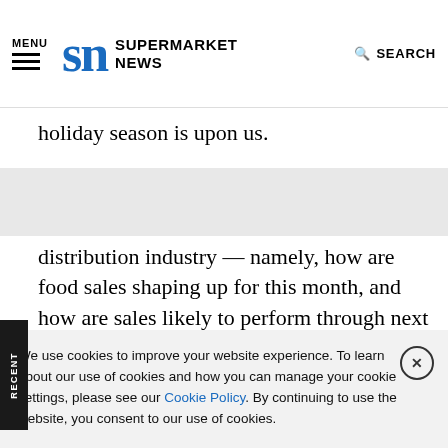MENU | SUPERMARKET NEWS | SEARCH
holiday season is upon us.
distribution industry — namely, how are food sales shaping up for this month, and how are sales likely to perform through next month? As you'll see in a front-page news article in this week's SN, the thinking as we go into the season is positive — maybe more positive than it has been for several previous holiday periods.
We use cookies to improve your website experience. To learn about our use of cookies and how you can manage your cookie settings, please see our Cookie Policy. By continuing to use the website, you consent to our use of cookies.